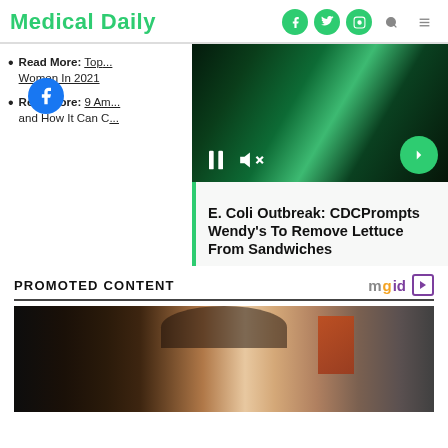Medical Daily
Read More: Top ... Women In 2021
Read More: 9 Am... and How It Can C...
[Figure (screenshot): Video player overlay with green smoky background, pause and mute controls, and green arrow button]
E. Coli Outbreak: CDCPrompts Wendy’s To Remove Lettuce From Sandwiches
PROMOTED CONTENT
[Figure (photo): Woman with hand on forehead looking stressed or tired, promotional content image]